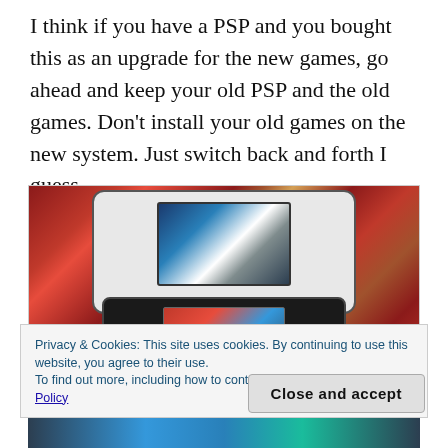I think if you have a PSP and you bought this as an upgrade for the new games, go ahead and keep your old PSP and the old games. Don't install your old games on the new system. Just switch back and forth I guess.
[Figure (photo): Photo of two PSP gaming devices — a white PSP on top showing LittleBigPlanet on screen, and a black PS Vita below it, both placed on a decorative red-patterned surface.]
Privacy & Cookies: This site uses cookies. By continuing to use this website, you agree to their use.
To find out more, including how to control cookies, see here: Cookie Policy
Close and accept